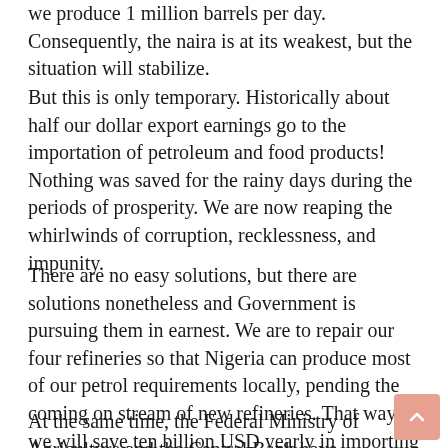we produce 1 million barrels per day. Consequently, the naira is at its weakest, but the situation will stabilize.
But this is only temporary. Historically about half our dollar export earnings go to the importation of petroleum and food products! Nothing was saved for the rainy days during the periods of prosperity. We are now reaping the whirlwinds of corruption, recklessness, and impunity.
There are no easy solutions, but there are solutions nonetheless and Government is pursuing them in earnest. We are to repair our four refineries so that Nigeria can produce most of our petrol requirements locally, pending the coming on stream of new refineries. That way we will save ten billion USD yearly in importing fuel.
At the same time, the Federal Ministry of Agriculture and the Central Bank have been mobilized to encourage